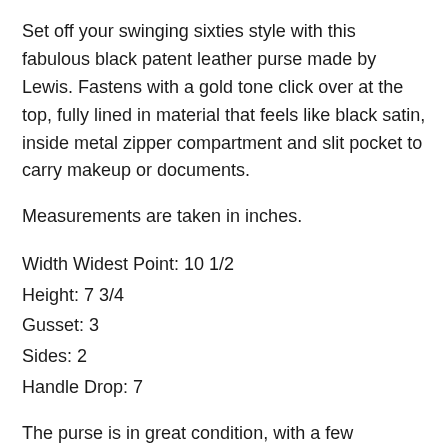Set off your swinging sixties style with this fabulous black patent leather purse made by Lewis. Fastens with a gold tone click over at the top, fully lined in material that feels like black satin, inside metal zipper compartment and slit pocket to carry makeup or documents.
Measurements are taken in inches.
Width Widest Point: 10 1/2
Height: 7 3/4
Gusset: 3
Sides: 2
Handle Drop: 7
The purse is in great condition, with a few scratches here and there, these however do not detract from use . SOLD AS IS, ALL SALES ARE FINAL.